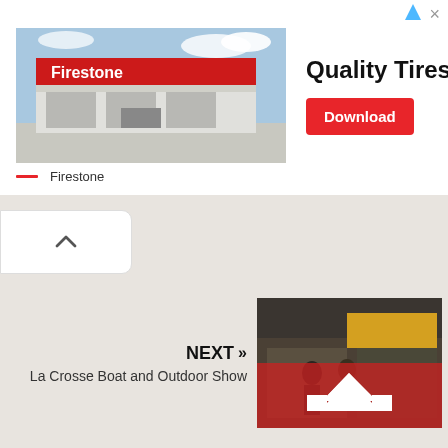[Figure (screenshot): Advertisement banner for Firestone Quality Tires and Services. Shows a Firestone store building photo on the left, bold text 'Quality Tires & Services' in the center, a red 'Download' button on the right. Below shows Firestone brand line with red dash.]
[Figure (screenshot): Map area with beige/tan background (empty map canvas). A white rounded collapse/chevron-up button is visible in the top-left area.]
NEXT »
La Crosse Boat and Outdoor Show
[Figure (photo): Thumbnail image for La Crosse Boat and Outdoor Show with a red overlay and white arrow/chevron icon. Shows people at an outdoor/boat show event.]